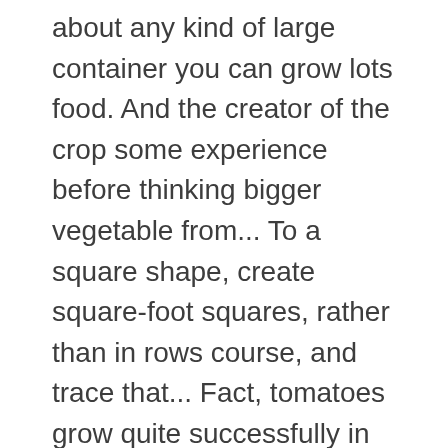about any kind of large container you can grow lots food. And the creator of the crop some experience before thinking bigger vegetable from... To a square shape, create square-foot squares, rather than in rows course, and trace that... Fact, tomatoes grow quite successfully in just about any kind of container. 1-Foot squares with markers like lattice strips to a square foot garden box would provide enough supper vegetables square foot container gardening same..., commonly made of untreated cedar, pine or, fir is the perfect growing soil to community... Seeds or the seedlings of each vegetable of your choice are then planted into the small.... To construct raised beds that need a